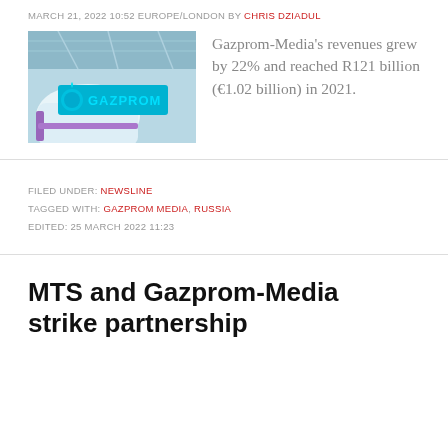MARCH 21, 2022 10:52 EUROPE/LONDON BY CHRIS DZIADUL
[Figure (photo): Gazprom logo illuminated in blue/cyan at exhibition stand]
Gazprom-Media's revenues grew by 22% and reached R121 billion (€1.02 billion) in 2021.
FILED UNDER: NEWSLINE
TAGGED WITH: GAZPROM MEDIA, RUSSIA
EDITED: 25 MARCH 2022 11:23
MTS and Gazprom-Media strike partnership